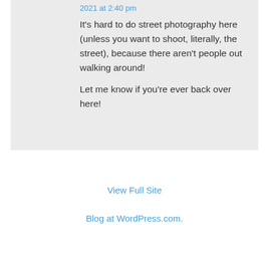2021 at 2:40 pm
It's hard to do street photography here (unless you want to shoot, literally, the street), because there aren't people out walking around!

Let me know if you're ever back over here!
View Full Site
Blog at WordPress.com.